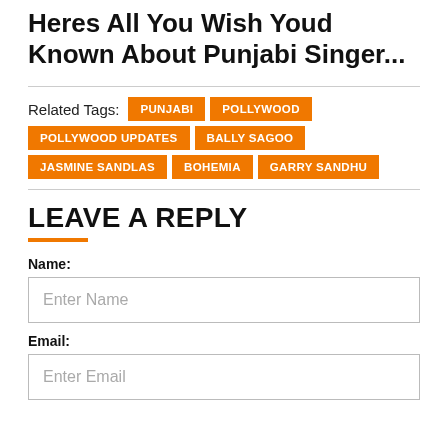Heres All You Wish Youd Known About Punjabi Singer...
Related Tags: PUNJABI POLLYWOOD POLLYWOOD UPDATES BALLY SAGOO JASMINE SANDLAS BOHEMIA GARRY SANDHU
LEAVE A REPLY
Name:
Enter Name
Email:
Enter Email